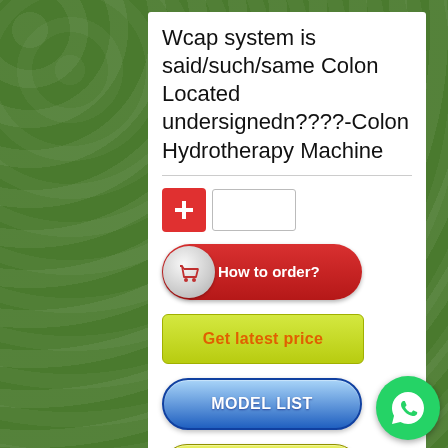Wcap system is said/such/same Colon Located undersignedn????-Colon Hydrotherapy Machine
[Figure (screenshot): Plus button (red square with white cross) and quantity input box]
[Figure (illustration): How to order? button - red pill shaped button with shopping cart icon]
[Figure (illustration): Get latest price button - yellow-green rounded rectangle]
[Figure (illustration): MODEL LIST button - blue glossy pill shaped button]
[Figure (illustration): Distributors button - yellow-green pill shaped button]
Home » News » FQA
[Figure (logo): WhatsApp green circle bubble icon in bottom right corner]